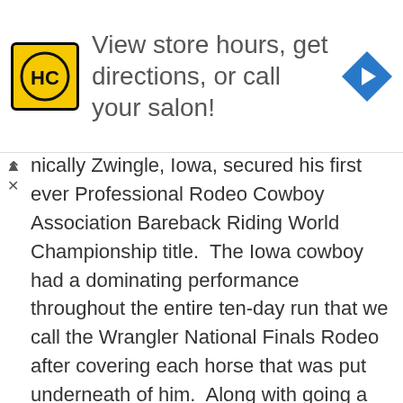[Figure (screenshot): Advertisement banner: HC logo (yellow square with black HC letters), text 'View store hours, get directions, or call your salon!', blue diamond navigation arrow icon on the right]
nically Zwingle, Iowa, secured his first ever Professional Rodeo Cowboy Association Bareback Riding World Championship title. The Iowa cowboy had a dominating performance throughout the entire ten-day run that we call the Wrangler National Finals Rodeo after covering each horse that was put underneath of him. Along with going a perfect 10-for-10 he also split a go-round win and place in 6/7 other rounds securing him the event average title as well!
I was able to catch up with the new world champion last night after it was announced he had in fact secured the title prior to even heading into round ten here earlier tonight. O'Connell is about as humble of a cowboy as